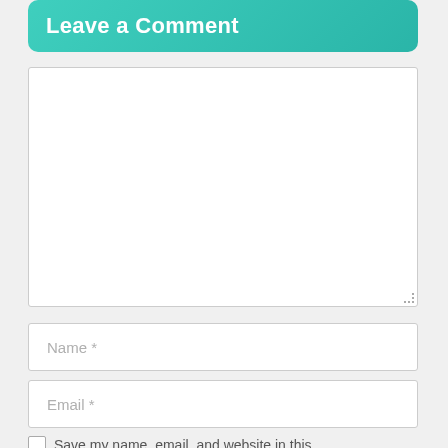Leave a Comment
[Figure (screenshot): Large empty textarea comment input box with resize handle in bottom-right corner]
Name *
Email *
Save my name, email, and website in this